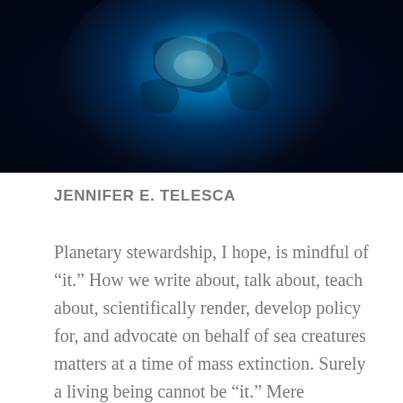[Figure (illustration): A dark blue image showing what appears to be a glowing cyan/blue Earth or ocean creature viewed from above, with swirling dark blue patterns surrounding a luminous center.]
JENNIFER E. TELESCA
Planetary stewardship, I hope, is mindful of “it.” How we write about, talk about, teach about, scientifically render, develop policy for, and advocate on behalf of sea creatures matters at a time of mass extinction. Surely a living being cannot be “it.” Mere semantics